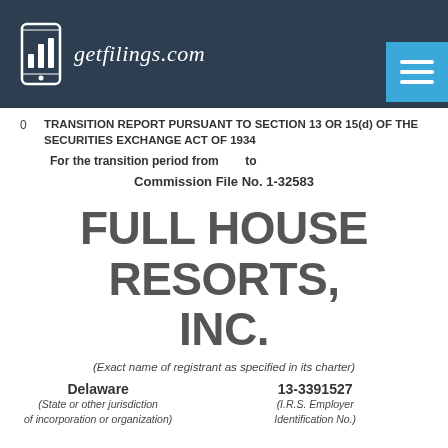[Figure (logo): getfilings.com logo with phone/bar-chart icon on dark navy background]
0   TRANSITION REPORT PURSUANT TO SECTION 13 OR 15(d) OF THE SECURITIES EXCHANGE ACT OF 1934
For the transition period from      to
Commission File No. 1-32583
FULL HOUSE RESORTS, INC.
(Exact name of registrant as specified in its charter)
Delaware
(State or other jurisdiction of incorporation or organization)
13-3391527
(I.R.S. Employer Identification No.)
One Summerlin, 1980 Festival Plaza Drive, Suite 680 Las Vegas, Nevada
(Address of principal executive
89135